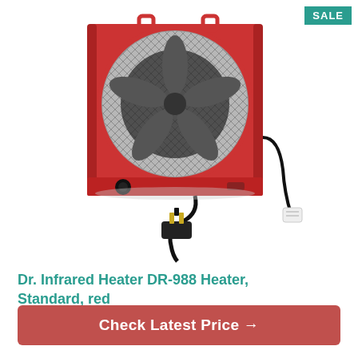[Figure (photo): Red Dr. Infrared DR-988 portable garage heater with metal mesh grill, fan visible through grill, black control knob at bottom left, power cord with large plug visible at bottom, shown against white background. A 'SALE' badge is in the top right corner.]
Dr. Infrared Heater DR-988 Heater, Standard, red
Check Latest Price →